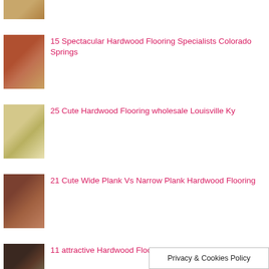15 Spectacular Hardwood Flooring Specialists Colorado Springs
25 Cute Hardwood Flooring wholesale Louisville Ky
21 Cute Wide Plank Vs Narrow Plank Hardwood Flooring
11 attractive Hardwood Flooring Ri
Privacy & Cookies Policy